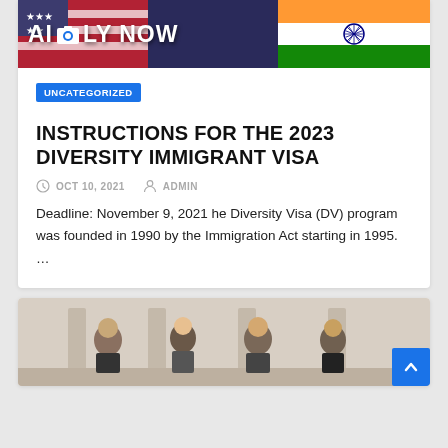[Figure (photo): Banner image with flags and text 'APPLY NOW' with a camera icon overlay]
UNCATEGORIZED
INSTRUCTIONS FOR THE 2023 DIVERSITY IMMIGRANT VISA
OCT 10, 2021   ADMIN
Deadline: November 9, 2021 he Diversity Visa (DV) program was founded in 1990 by the Immigration Act starting in 1995. ...
[Figure (photo): Photo of a group of young people, likely representing diversity immigrants]